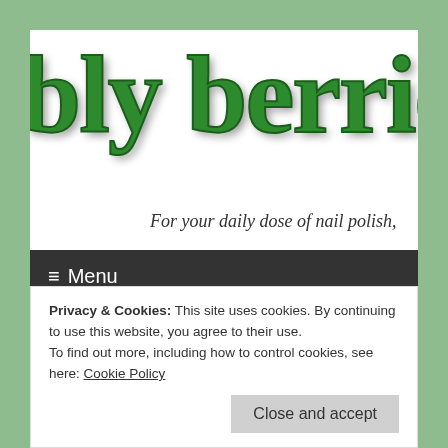[Figure (logo): Blog logo showing 'bby berries' in large green script font with shadow effect, subtitle 'For your daily dose of nail polish,' in italic serif]
≡  Menu
China Glaze “Harvest
Privacy & Cookies: This site uses cookies. By continuing to use this website, you agree to their use.
To find out more, including how to control cookies, see here: Cookie Policy
Close and accept